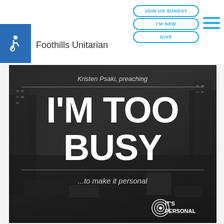[Figure (logo): Accessibility wheelchair icon in blue square]
Foothills Unitarian
JOIN US SUNDAY
I'M NEW
GIVE
[Figure (illustration): Hamburger menu icon with three horizontal blue lines]
[Figure (photo): Dark black and white photo of a busy city street with overlaid text. Text reads: Kristen Psaki, preaching / I'M TOO BUSY / ...to make it personal. Bottom right has IT'S PERSONAL logo with heart icon.]